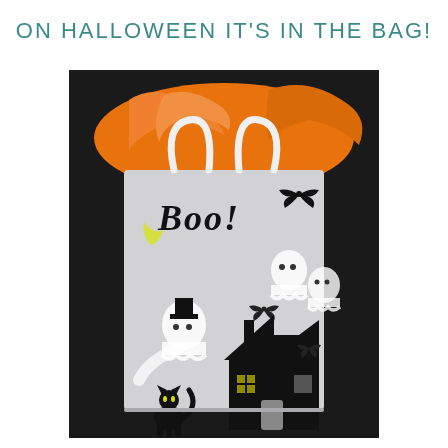ON HALLOWEEN IT'S IN THE BAG!
[Figure (photo): A Halloween trick-or-treat gift bag with white handles, filled with orange tissue paper. The bag is grey/frosted and decorated with Halloween motifs: 'Boo!' text, ghosts, a haunted house, bats, a black cat, and a crescent moon, all in black and white with a yellow moon accent. The background is dark/black.]